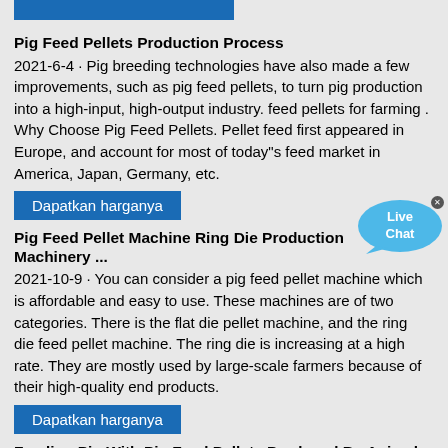Pig Feed Pellets Production Process
2021-6-4 · Pig breeding technologies have also made a few improvements, such as pig feed pellets, to turn pig production into a high-input, high-output industry. feed pellets for farming . Why Choose Pig Feed Pellets. Pellet feed first appeared in Europe, and account for most of today"s feed market in America, Japan, Germany, etc.
Dapatkan harganya
Pig Feed Pellet Machine Ring Die Production Machinery ...
[Figure (other): Live Chat bubble icon in blue]
2021-10-9 · You can consider a pig feed pellet machine which is affordable and easy to use. These machines are of two categories. There is the flat die pellet machine, and the ring die feed pellet machine. The ring die is increasing at a high rate. They are mostly used by large-scale farmers because of their high-quality end products.
Dapatkan harganya
Feeding Pig With Pig Feed Pellets Produced By Animal ...
2021-3-23 · Still buy pellet feed for pig?If you are still buying feed pellets from commercial pig feed factory or feed shop, then your cost per year for buying feed may be a lot big. Why not choose an animal feed machine to make feed pellets by yourself to save cost. You can find a pig animal feed pellet